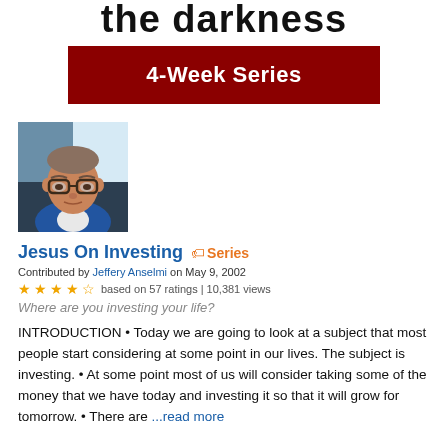the darkness
4-Week Series
[Figure (photo): Headshot photo of a middle-aged man with glasses wearing a blue blazer, seated in a car]
Jesus On Investing  Series
Contributed by Jeffery Anselmi on May 9, 2002
based on 57 ratings | 10,381 views
Where are you investing your life?
INTRODUCTION • Today we are going to look at a subject that most people start considering at some point in our lives. The subject is investing. • At some point most of us will consider taking some of the money that we have today and investing it so that it will grow for tomorrow. • There are ...read more